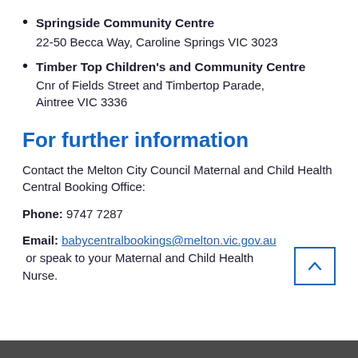Springside Community Centre
22-50 Becca Way, Caroline Springs VIC 3023
Timber Top Children's and Community Centre
Cnr of Fields Street and Timbertop Parade, Aintree VIC 3336
For further information
Contact the Melton City Council Maternal and Child Health Central Booking Office:
Phone: 9747 7287
Email: babycentralbookings@melton.vic.gov.au or speak to your Maternal and Child Health Nurse.